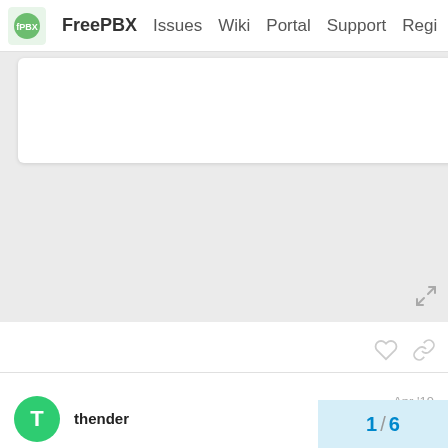FreePBX  Issues  Wiki  Portal  Support  Regi
[Figure (screenshot): Embedded white box with a blue button, on gray background with expand icon]
PitzKey  Itzik  Nice Reply  Apr '19
I don't understand these errors… But I would try editing extension 101, click submit and try to apply config again.
thender  Apr '19
1 / 6